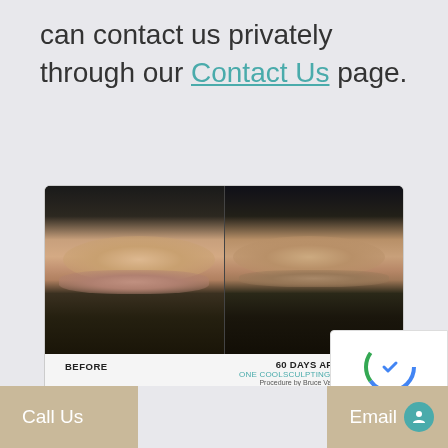can contact us privately through our Contact Us page.
[Figure (photo): Before and after CoolSculpting treatment photos showing reduction in flank/love handle area. Left panel labeled BEFORE, right panel labeled 60 DAYS AFTER ONE COOLSCULPTING TREATMENT, Procedure by Bruce Van Natta, MD]
CoolSculpting, Princeton, NJ
[Figure (other): reCAPTCHA badge with Privacy and Terms links]
Call Us  Email